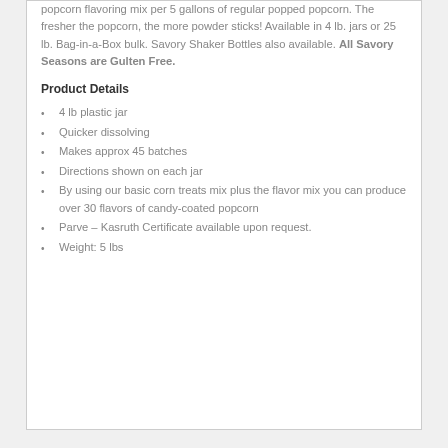popcorn flavoring mix per 5 gallons of regular popped popcorn. The fresher the popcorn, the more powder sticks! Available in 4 lb. jars or 25 lb. Bag-in-a-Box bulk. Savory Shaker Bottles also available. All Savory Seasons are Gulten Free.
Product Details
4 lb plastic jar
Quicker dissolving
Makes approx 45 batches
Directions shown on each jar
By using our basic corn treats mix plus the flavor mix you can produce over 30 flavors of candy-coated popcorn
Parve – Kasruth Certificate available upon request.
Weight: 5 lbs